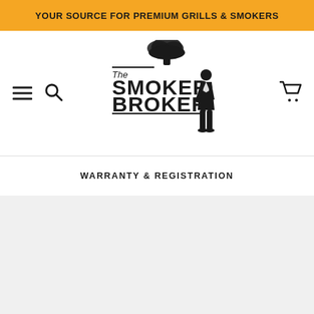YOUR SOURCE FOR PREMIUM GRILLS & SMOKERS
[Figure (logo): The Smoker Broker logo: text 'The SMOKER BROKER' with a man in a suit whose head is a mushroom cloud of smoke]
WARRANTY & REGISTRATION